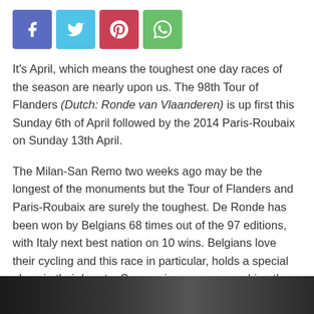[Figure (other): Social sharing buttons: Facebook (purple-blue), Twitter (light blue), Pinterest (red), WhatsApp (green)]
It's April, which means the toughest one day races of the season are nearly upon us. The 98th Tour of Flanders (Dutch: Ronde van Vlaanderen) is up first this Sunday 6th of April followed by the 2014 Paris-Roubaix on Sunday 13th April.
The Milan-San Remo two weeks ago may be the longest of the monuments but the Tour of Flanders and Paris-Roubaix are surely the toughest. De Ronde has been won by Belgians 68 times out of the 97 editions, with Italy next best nation on 10 wins. Belgians love their cycling and this race in particular, holds a special place in their hearts. Come rain, snow or sunshine the fans will be on the roadside to cheer on the riders. It's a race like no other.
[Figure (photo): Photo strip at the bottom of the page, partially visible, showing a cycling-related image in dark tones]